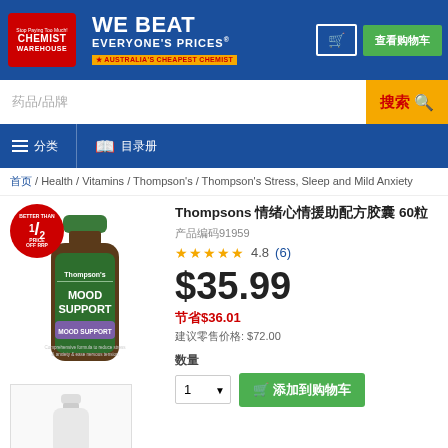[Figure (logo): Chemist Warehouse logo with WE BEAT EVERYONE'S PRICES tagline and cart button]
搜索
药品/品牌
首页 / Health / Vitamins / Thompson's / Thompson's Stress, Sleep and Mild Anxiety
Thompsons 情绪心情援助配方胶囊 60粒
产品编码91959
★★★★★  4.8  (6)
$35.99
节省$36.01
建议零售价格: $72.00
数量
[Figure (photo): Thompson's Mood Support supplement bottle - main product image]
[Figure (photo): Thumbnail of white supplement bottle]
添加到购物车